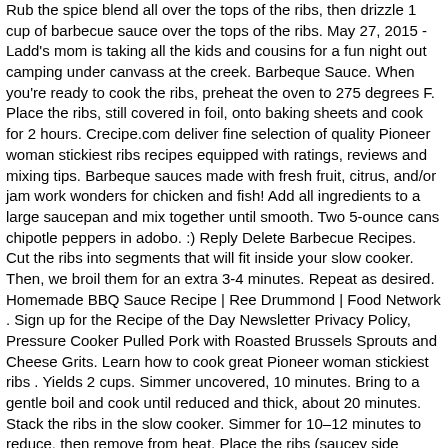Rub the spice blend all over the tops of the ribs, then drizzle 1 cup of barbecue sauce over the tops of the ribs. May 27, 2015 - Ladd's mom is taking all the kids and cousins for a fun night out camping under canvass at the creek. Barbeque Sauce. When you're ready to cook the ribs, preheat the oven to 275 degrees F. Place the ribs, still covered in foil, onto baking sheets and cook for 2 hours. Crecipe.com deliver fine selection of quality Pioneer woman stickiest ribs recipes equipped with ratings, reviews and mixing tips. Barbeque sauces made with fresh fruit, citrus, and/or jam work wonders for chicken and fish! Add all ingredients to a large saucepan and mix together until smooth. Two 5-ounce cans chipotle peppers in adobo. :) Reply Delete Barbecue Recipes. Cut the ribs into segments that will fit inside your slow cooker. Then, we broil them for an extra 3-4 minutes. Repeat as desired. Homemade BBQ Sauce Recipe | Ree Drummond | Food Network . Sign up for the Recipe of the Day Newsletter Privacy Policy, Pressure Cooker Pulled Pork with Roasted Brussels Sprouts and Cheese Grits. Learn how to cook great Pioneer woman stickiest ribs . Yields 2 cups. Simmer uncovered, 10 minutes. Bring to a gentle boil and cook until reduced and thick, about 20 minutes. Stack the ribs in the slow cooker. Simmer for 10–12 minutes to reduce, then remove from heat. Place the ribs (saucey side down) onto your preheated grill. I put the burgers on the grill, then asked my wife if we had any Stir and bring to a simmer. Ree's whipping up delicious food for them to cook over the campfire in the great outdoors, like Campfire Beans, Skillet Cornbread, Smoked Sausages with Homemade BBQ Sauce. Good stuff. Be creative! It has a touch of smokiness from chipotle chili powder, and like many of my recipes, it's customizable so you can make it perfect for you. 1 tablespoon canola oil. My family really enjoys it and I have made